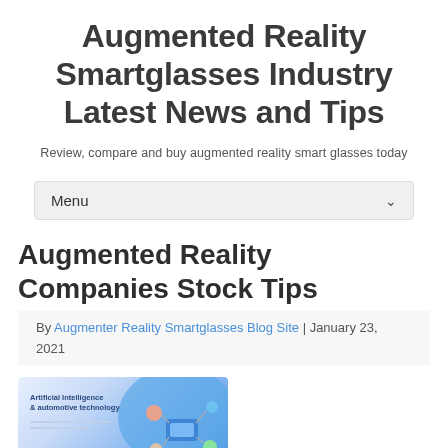Augmented Reality Smartglasses Industry Latest News and Tips
Review, compare and buy augmented reality smart glasses today
Menu
Augmented Reality Companies Stock Tips
By Augmenter Reality Smartglasses Blog Site | January 23, 2021
[Figure (screenshot): Article thumbnail image showing a technology blog page with text 'Artificial Intelligence & automotive technology' and decorative blue blob with connected device icons]